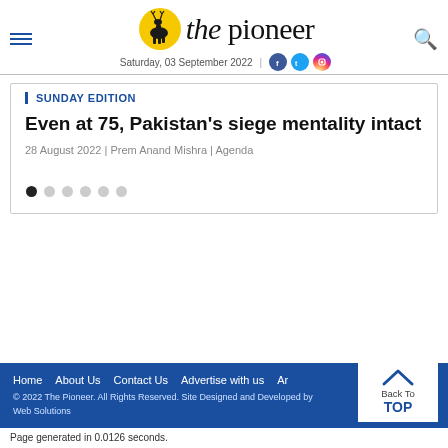the pioneer — Saturday, 03 September 2022
SUNDAY EDITION
Even at 75, Pakistan's siege mentality intact
28 August 2022 | Prem Anand Mishra | Agenda
Home   About Us   Contact Us   Advertise with us   Ar... © 2022 The Pioneer. All Rights Reserved. Site Designed and Developed by... Web Solutions
Page generated in 0.0126 seconds.